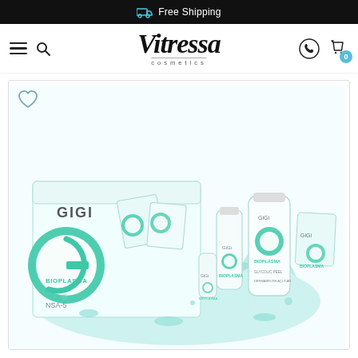Free Shipping
[Figure (logo): Vitressa cosmetics logo with hamburger menu, search icon, WhatsApp icon and cart badge showing 0]
[Figure (photo): GIGI Bioplasma NSA-5 product set displayed with box, tubes, small bottles and sachets on a white/aqua splash background]